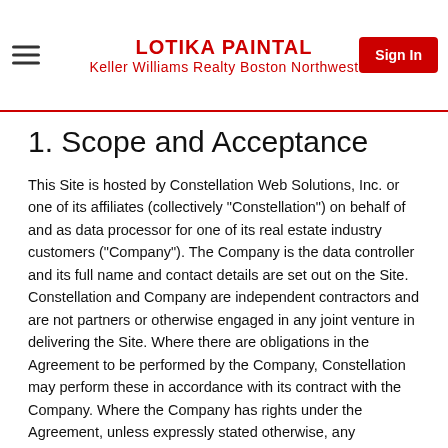LOTIKA PAINTAL
Keller Williams Realty Boston Northwest
1. Scope and Acceptance
This Site is hosted by Constellation Web Solutions, Inc. or one of its affiliates (collectively "Constellation") on behalf of and as data processor for one of its real estate industry customers ("Company"). The Company is the data controller and its full name and contact details are set out on the Site. Constellation and Company are independent contractors and are not partners or otherwise engaged in any joint venture in delivering the Site. Where there are obligations in the Agreement to be performed by the Company, Constellation may perform these in accordance with its contract with the Company. Where the Company has rights under the Agreement, unless expressly stated otherwise, any reference to "we", "us" or "our" shall refer to both Constellation and Company, so that Constellation may directly benefit from these rights so as to give effect to its contract with the Company or as